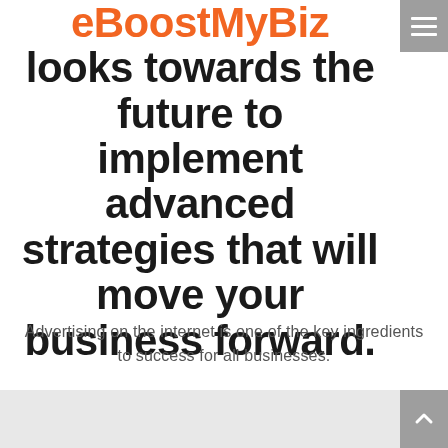eBoostMyBiz looks towards the future to implement advanced strategies that will move your business forward.
Advertising on the internet is one of the key ingredients to success for all businesses.